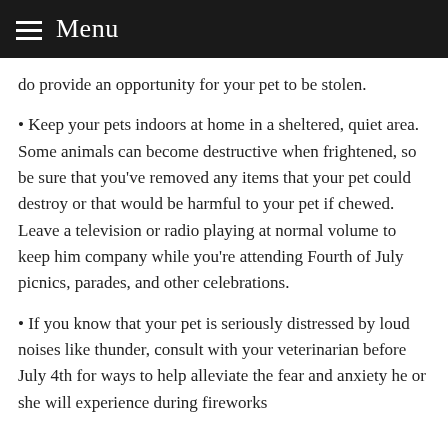Menu
do provide an opportunity for your pet to be stolen.
Keep your pets indoors at home in a sheltered, quiet area. Some animals can become destructive when frightened, so be sure that you've removed any items that your pet could destroy or that would be harmful to your pet if chewed. Leave a television or radio playing at normal volume to keep him company while you're attending Fourth of July picnics, parades, and other celebrations.
If you know that your pet is seriously distressed by loud noises like thunder, consult with your veterinarian before July 4th for ways to help alleviate the fear and anxiety he or she will experience during fireworks